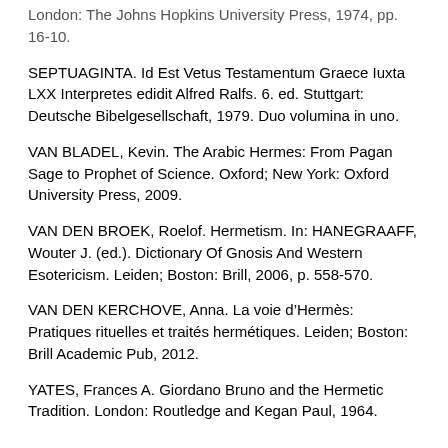London: The Johns Hopkins University Press, 1974, pp. 16-10.
SEPTUAGINTA. Id Est Vetus Testamentum Graece Iuxta LXX Interpretes edidit Alfred Ralfs. 6. ed. Stuttgart: Deutsche Bibelgesellschaft, 1979. Duo volumina in uno.
VAN BLADEL, Kevin. The Arabic Hermes: From Pagan Sage to Prophet of Science. Oxford; New York: Oxford University Press, 2009.
VAN DEN BROEK, Roelof. Hermetism. In: HANEGRAAFF, Wouter J. (ed.). Dictionary Of Gnosis And Western Esotericism. Leiden; Boston: Brill, 2006, p. 558-570.
VAN DEN KERCHOVE, Anna. La voie d’Hermès: Pratiques rituelles et traités hermétiques. Leiden; Boston: Brill Academic Pub, 2012.
YATES, Frances A. Giordano Bruno and the Hermetic Tradition. London: Routledge and Kegan Paul, 1964.